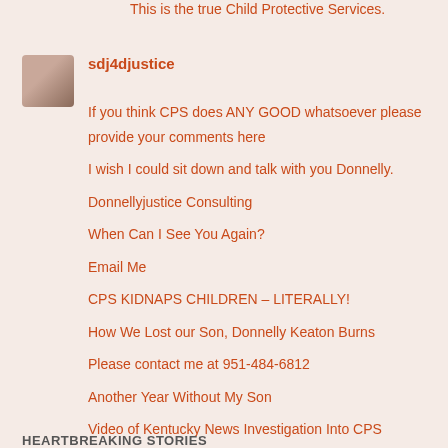This is the true Child Protective Services.
sdj4djustice
If you think CPS does ANY GOOD whatsoever please provide your comments here
I wish I could sit down and talk with you Donnelly.
Donnellyjustice Consulting
When Can I See You Again?
Email Me
CPS KIDNAPS CHILDREN – LITERALLY!
How We Lost our Son, Donnelly Keaton Burns
Please contact me at 951-484-6812
Another Year Without My Son
Video of Kentucky News Investigation Into CPS Abuse
HEARTBREAKING STORIES